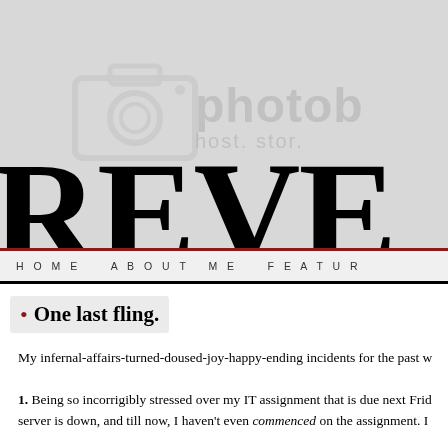[Figure (screenshot): Blog website header with large bold serif text 'REVE' (partial, cropped) on a gray background with Photobucket watermark overlay including camera icon and 'photob' watermark text]
HOME   ABOUT ME   FEATUR
• One last fling.
My infernal-affairs-turned-doused-joy-happy-ending incidents for the past w
1. Being so incorrigibly stressed over my IT assignment that is due next Frid server is down, and till now, I haven't even commenced on the assignment. I